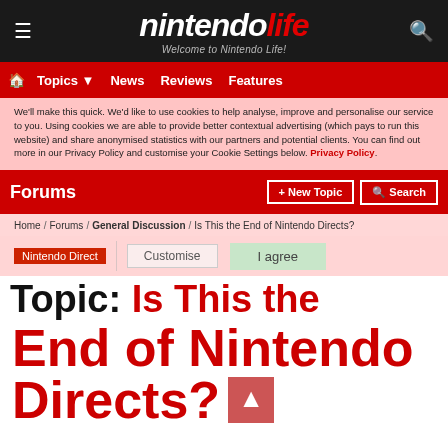nintendo life — Welcome to Nintendo Life!
Topics | News | Reviews | Features
We'll make this quick. We'd like to use cookies to help analyse, improve and personalise our service to you. Using cookies we are able to provide better contextual advertising (which pays to run this website) and share anonymised statistics with our partners and potential clients. You can find out more in our Privacy Policy and customise your Cookie Settings below. Privacy Policy.
Forums  + New Topic  Search
Home / Forums / General Discussion / Is This the End of Nintendo Directs?
Nintendo Direct  Customise  I agree
Topic: Is This the End of Nintendo Directs?